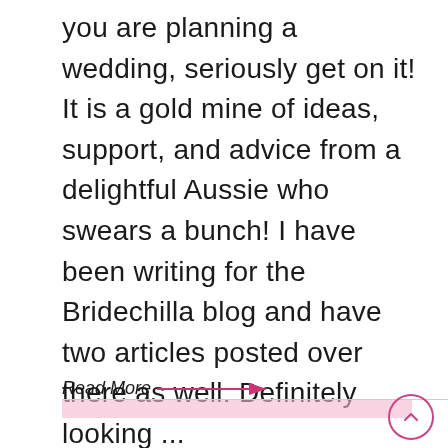you are planning a wedding, seriously get on it! It is a gold mine of ideas, support, and advice from a delightful Aussie who swears a bunch! I have been writing for the Bridechilla blog and have two articles posted over there as well. Definitely looking ...
Read More →